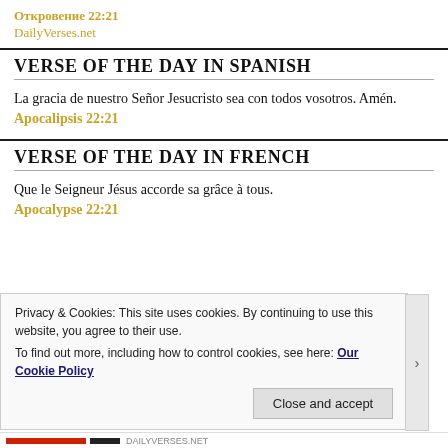Откровение 22:21
DailyVerses.net
VERSE OF THE DAY IN SPANISH
La gracia de nuestro Señor Jesucristo sea con todos vosotros. Amén.
Apocalipsis 22:21
VERSE OF THE DAY IN FRENCH
Que le Seigneur Jésus accorde sa grâce à tous.
Apocalypse 22:21
Privacy & Cookies: This site uses cookies. By continuing to use this website, you agree to their use.
To find out more, including how to control cookies, see here: Our Cookie Policy
Close and accept